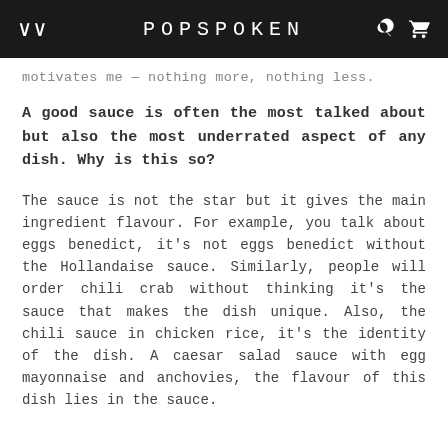WM   POPSPOKEN
motivates me — nothing more, nothing less.
A good sauce is often the most talked about but also the most underrated aspect of any dish. Why is this so?
The sauce is not the star but it gives the main ingredient flavour. For example, you talk about eggs benedict, it's not eggs benedict without the Hollandaise sauce. Similarly, people will order chili crab without thinking it's the sauce that makes the dish unique. Also, the chili sauce in chicken rice, it's the identity of the dish. A caesar salad sauce with egg mayonnaise and anchovies, the flavour of this dish lies in the sauce.